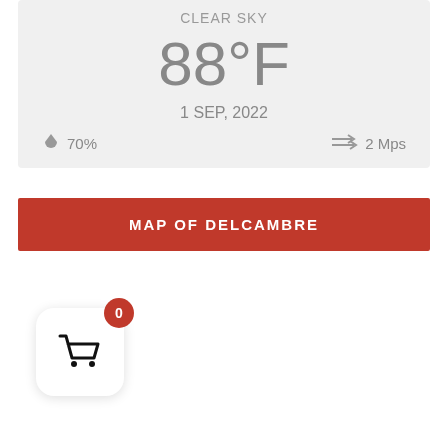CLEAR SKY
88°F
1 SEP, 2022
💧 70%   ➨ 2 Mps
MAP OF DELCAMBRE
[Figure (other): Shopping cart widget with badge showing 0]